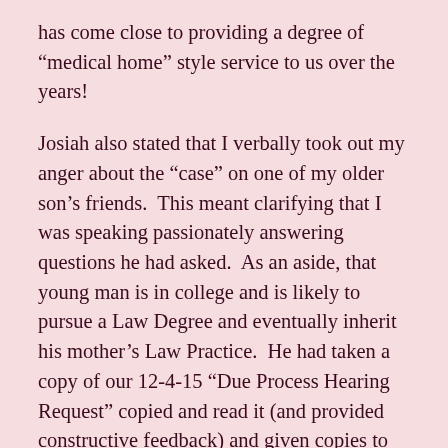has come close to providing a degree of “medical home” style service to us over the years!
Josiah also stated that I verbally took out my anger about the “case” on one of my older son’s friends.  This meant clarifying that I was speaking passionately answering questions he had asked.  As an aside, that young man is in college and is likely to pursue a Law Degree and eventually inherit his mother’s Law Practice.  He had taken a copy of our 12-4-15 “Due Process Hearing Request” copied and read it (and provided constructive feedback) and given copies to his attorney mother and one of his professors who teaches pre-law classes and is also an attorney.  We had given him permission to spread this info around thusly in hopes that some help would